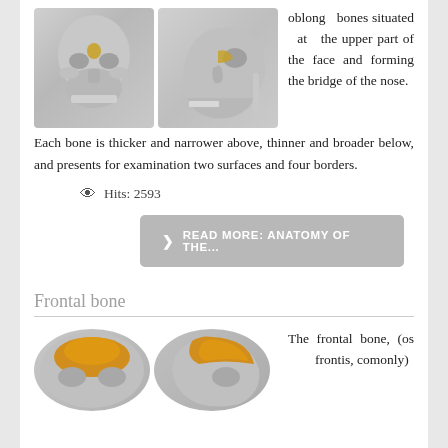[Figure (photo): Two skull anatomical images showing nasal bone highlighted in gold/yellow from frontal and lateral views]
oblong bones situated at the upper part of the face and forming the bridge of the nose. Each bone is thicker and narrower above, thinner and broader below, and presents for examination two surfaces and four borders.
Hits: 2593
READ MORE: ANATOMY OF THE...
Frontal bone
[Figure (photo): Two skull anatomical images showing frontal bone highlighted in orange/yellow from two angles]
The frontal bone, (os frontis, comonly)